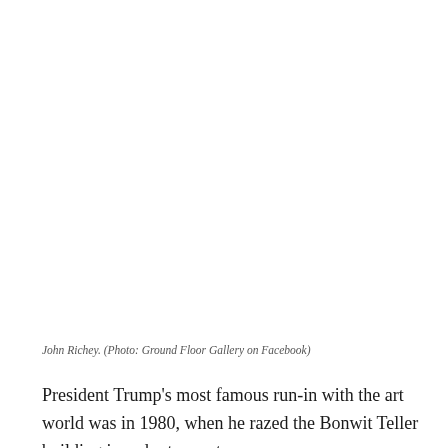[Figure (photo): Large photo area, appears blank/white in this view — likely a photo of John Richey or related artwork, cropped at top]
John Richey. (Photo: Ground Floor Gallery on Facebook)
President Trump's most famous run-in with the art world was in 1980, when he razed the Bonwit Teller building in order to erect